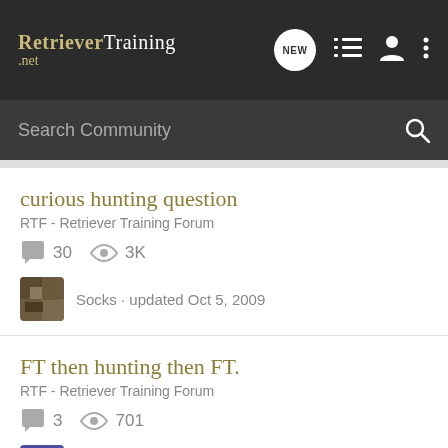RetrieverTraining.net — header navigation bar with logo, NEW button, list icon, person icon, dots icon
Search Community
curious hunting question
RTF - Retriever Training Forum
30 comments · 3K views
Socks · updated Oct 5, 2009
FT then hunting then FT.
RTF - Retriever Training Forum
3 comments · 701 views
Dave Burton · updated Nov 29, 2016